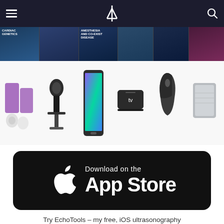[Figure (screenshot): Website navigation bar with hamburger menu, stylized rk logo, and search icon on dark background]
[Figure (screenshot): Row of medical and educational book covers in dark blue tones]
[Figure (screenshot): Row of tech product images: Philips Hue lights, microphone, iPad mini, Apple TV, Logitech mouse, WD portable hard drive]
[Figure (screenshot): Download on the App Store button — black rounded rectangle with Apple logo and text 'Download on the App Store']
Try EchoTools - my free, iOS ultrasonography reference application!